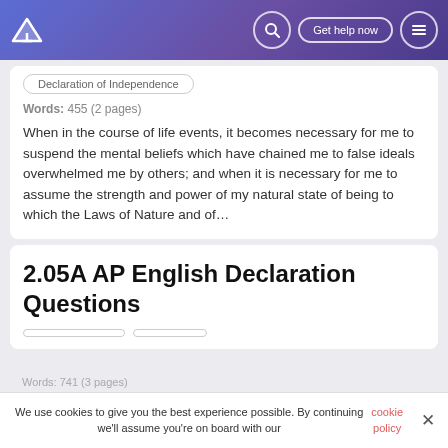Get help now
Declaration of Independence
Words: 455 (2 pages)
When in the course of life events, it becomes necessary for me to suspend the mental beliefs which have chained me to false ideals overwhelmed me by others; and when it is necessary for me to assume the strength and power of my natural state of being to which the Laws of Nature and of...
2.05A AP English Declaration Questions
We use cookies to give you the best experience possible. By continuing we'll assume you're on board with our cookie policy
Words: 741 (3 pages)